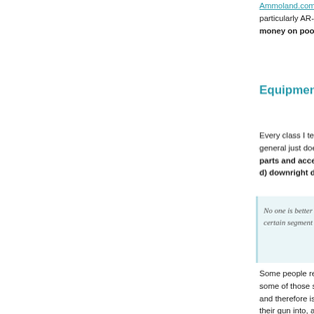Ammoland.com article, "Don't Be a Tacti-Cool Fool", V... particularly AR-platform rifles. Vickers doesn't mince wo... money on poorly-designed hardware that may be "usel...
Equipment Selection Advice from...
Every class I teach I see and hear students talking about... general just doesn't add up on the range. Everything loo... parts and accessories offered on the market today are... d) downright dangerous.
No one is better at taking fully-functional, fact... certain segment of the American gun-buying p...
Some people really don't apply the common sense approa... some of those same people will get on the Internet and b... and therefore is junk. Or they will recommend to fellow s... their gun into, at best, a range toy.
Some of this shows up in my classes and usually by lun... become apparent for everyone in the class, most of all to... money but in turn he learned a serious life lesson –be ca... and there is no substitute for shaking out your equipment a...